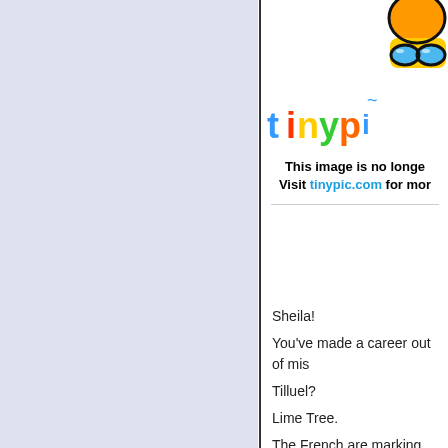[Figure (screenshot): TinyPic logo and mascot image placeholder showing cartoon character and colorful TinyPic logo text. Message reads: This image is no longer available. Visit tinypic.com for more information.]
Sheila!
You've made a career out of mis
Tilluel?
Lime Tree.
The French are marking the Par
"6th Augu
Transfigu